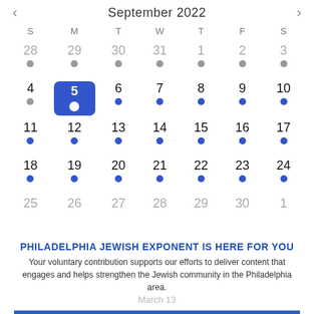September 2022
[Figure (other): Monthly calendar for September 2022 with navigation arrows, day-of-week headers (S M T W T F S), dates 28-31 (gray, from August), September 1-30, and October 1 (gray). Date 5 is highlighted in blue as selected. Most September dates have blue dots below them; August carry-over dates have gray dots.]
PHILADELPHIA JEWISH EXPONENT IS HERE FOR YOU
Your voluntary contribution supports our efforts to deliver content that engages and helps strengthen the Jewish community in the Philadelphia area.
CONTRIBUTE
Weekly Friendly Mahjong Game at MBIEE
July 17, 2022 @ 9:00 am - June 25, 2023 @ 10:00 am